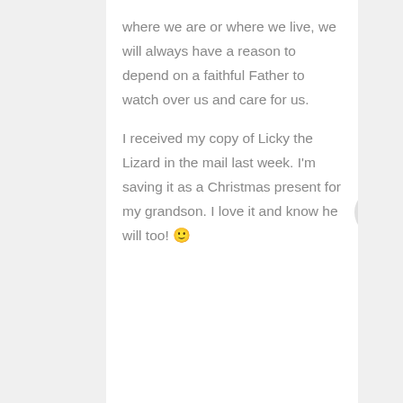where we are or where we live, we will always have a reason to depend on a faithful Father to watch over us and care for us.

I received my copy of Licky the Lizard in the mail last week. I'm saving it as a Christmas present for my grandson. I love it and know he will too! 🙂